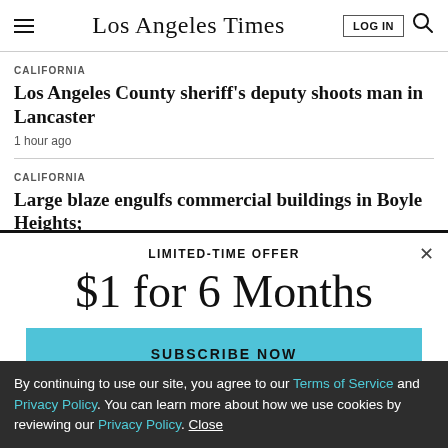Los Angeles Times
CALIFORNIA
Los Angeles County sheriff's deputy shoots man in Lancaster
1 hour ago
CALIFORNIA
Large blaze engulfs commercial buildings in Boyle Heights;
LIMITED-TIME OFFER
$1 for 6 Months
SUBSCRIBE NOW
By continuing to use our site, you agree to our Terms of Service and Privacy Policy. You can learn more about how we use cookies by reviewing our Privacy Policy. Close